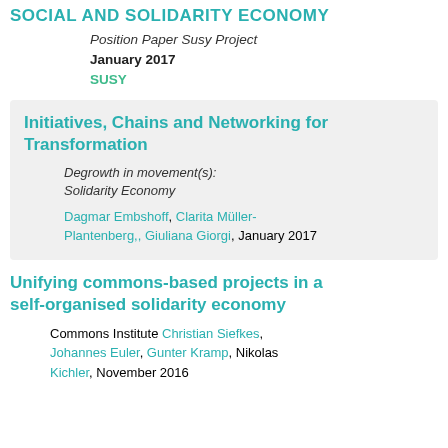SOCIAL AND SOLIDARITY ECONOMY
Position Paper Susy Project
January 2017
SUSY
Initiatives, Chains and Networking for Transformation
Degrowth in movement(s): Solidarity Economy
Dagmar Embshoff, Clarita Müller-Plantenberg,, Giuliana Giorgi, January 2017
Unifying commons-based projects in a self-organised solidarity economy
Commons Institute Christian Siefkes, Johannes Euler, Gunter Kramp, Nikolas Kichler, November 2016